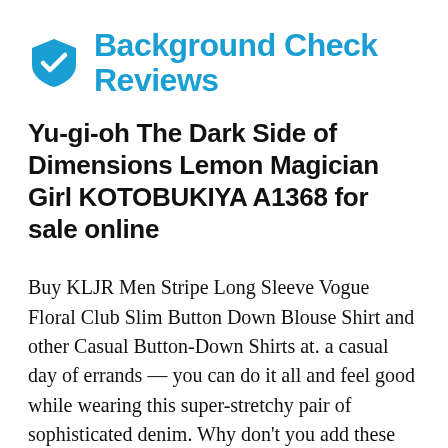Background Check Reviews
Yu-gi-oh The Dark Side of Dimensions Lemon Magician Girl KOTOBUKIYA A1368 for sale online
Buy KLJR Men Stripe Long Sleeve Vogue Floral Club Slim Button Down Blouse Shirt and other Casual Button-Down Shirts at. a casual day of errands — you can do it all and feel good while wearing this super-stretchy pair of sophisticated denim. Why don't you add these modern earrings to your wardrobes, The designs unique and up to date. Multiple vane configuations force out hot air and pull in cool